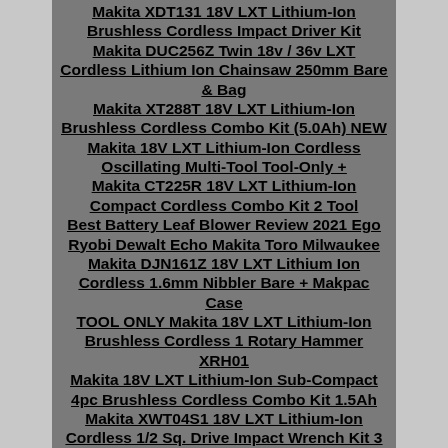Makita XDT131 18V LXT Lithium-Ion Brushless Cordless Impact Driver Kit
Makita DUC256Z Twin 18v / 36v LXT Cordless Lithium Ion Chainsaw 250mm Bare & Bag
Makita XT288T 18V LXT Lithium-Ion Brushless Cordless Combo Kit (5.0Ah) NEW
Makita 18V LXT Lithium-Ion Cordless Oscillating Multi-Tool Tool-Only +
Makita CT225R 18V LXT Lithium-Ion Compact Cordless Combo Kit 2 Tool
Best Battery Leaf Blower Review 2021 Ego Ryobi Dewalt Echo Makita Toro Milwaukee
Makita DJN161Z 18V LXT Lithium Ion Cordless 1.6mm Nibbler Bare + Makpac Case
TOOL ONLY Makita 18V LXT Lithium-Ion Brushless Cordless 1 Rotary Hammer XRH01
Makita 18V LXT Lithium-Ion Sub-Compact 4pc Brushless Cordless Combo Kit 1.5Ah
Makita XWT04S1 18V LXT Lithium-Ion Cordless 1/2 Sq. Drive Impact Wrench Kit 3
Makita 18V LXT LithiumIon Cordless 3/8 Angle Drill Tool Only NEW